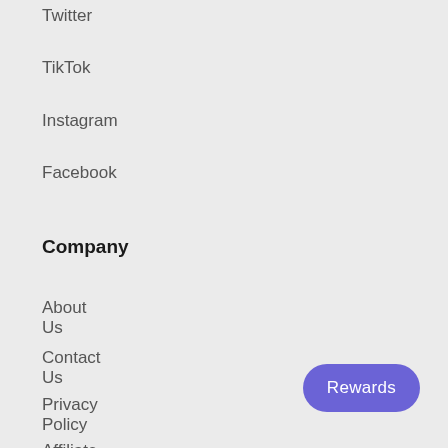Twitter
TikTok
Instagram
Facebook
Company
About Us
Contact Us
Privacy Policy
Affiliate Program
Rewards